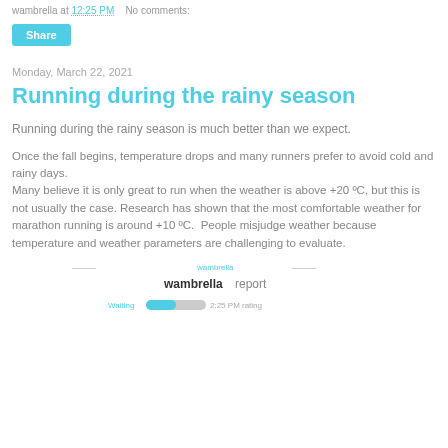wambrella at 12:25 PM   No comments:
Share
Monday, March 22, 2021
Running during the rainy season
Running during the rainy season is much better than we expect.
Once the fall begins, temperature drops and many runners prefer to avoid cold and rainy days. Many believe it is only great to run when the weather is above +20 ºC, but this is not usually the case. Research has shown that the most comfortable weather for marathon running is around +10 ºC.  People misjudge weather because temperature and weather parameters are challenging to evaluate.
[Figure (screenshot): Wambrella report widget showing a weather bar chart with categories and a logo in the center]